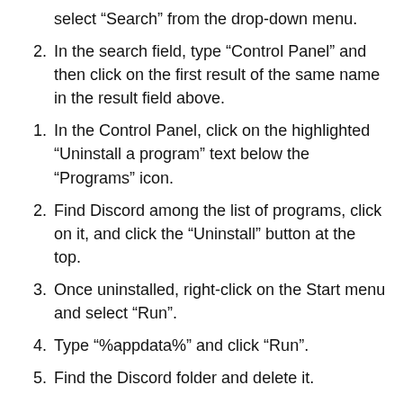select “Search” from the drop-down menu.
In the search field, type “Control Panel” and then click on the first result of the same name in the result field above.
In the Control Panel, click on the highlighted “Uninstall a program” text below the “Programs” icon.
Find Discord among the list of programs, click on it, and click the “Uninstall” button at the top.
Once uninstalled, right-click on the Start menu and select “Run”.
Type “%appdata%” and click “Run”.
Find the Discord folder and delete it.
Open up “Run” once more, search for “%localappdata%”, and delete the Discord folder.
Visit the Discord website and download the latest version of the app here.
Double-click on the downloaded executable file and